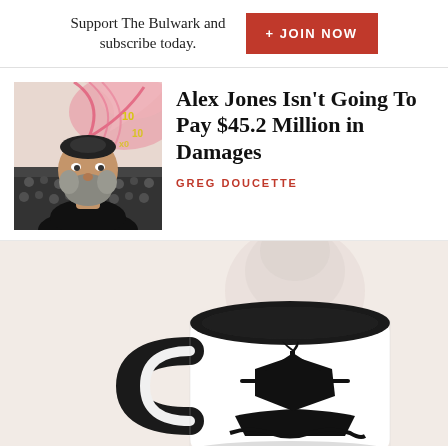Support The Bulwark and subscribe today.
+ JOIN NOW
[Figure (photo): Photo of Alex Jones, a bearded man in dark clothing, with a colorful illustrated background featuring pink swirling lines and yellow numbers.]
Alex Jones Isn't Going To Pay $45.2 Million in Damages
GREG DOUCETTE
[Figure (photo): Product photo of a white coffee mug with black interior and black handle, featuring a black silhouette of a tall sailing ship. The mug sits on a warm beige/cream background with a soft steam visual behind it.]